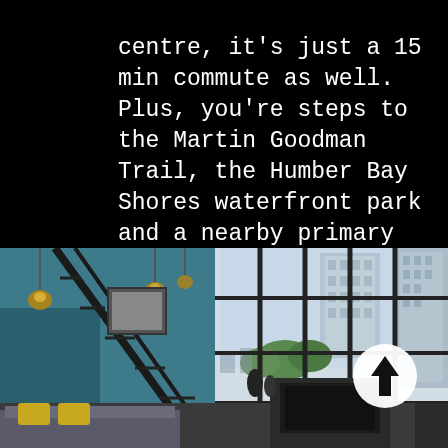centre, it's just a 15 min commute as well. Plus, you're steps to the Martin Goodman Trail, the Humber Bay Shores waterfront park and a nearby primary school.
[Figure (photo): Interior photo of a modern loft-style condo with teal/blue walls, industrial black metal staircase railing, pendant Edison bulb lighting, floor-to-ceiling grid windows looking out at high-rise buildings and trees, a living room area with grey sofa and yellow accent pillows, a dark fireplace unit. A circular white button with an upward arrow is overlaid on the right side.]